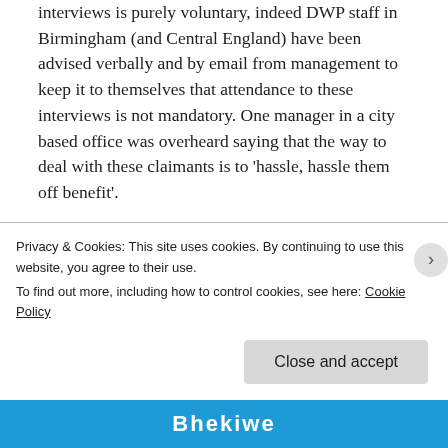interviews is purely voluntary, indeed DWP staff in Birmingham (and Central England) have been advised verbally and by email from management to keep it to themselves that attendance to these interviews is not mandatory. One manager in a city based office was overheard saying that the way to deal with these claimants is to ‘hassle, hassle them off benefit’.
Andrew Lloyd, PCS Midlands regional secretary that represents DWP staff said, “It is outrageous that the DWP are duping the
Privacy & Cookies: This site uses cookies. By continuing to use this website, you agree to their use.
To find out more, including how to control cookies, see here: Cookie Policy